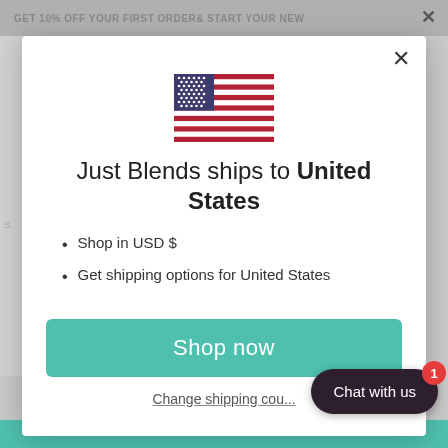GET 10% OFF YOUR FIRST ORDER& START YOUR NEW
[Figure (screenshot): US flag emoji/icon displayed above the modal text]
Just Blends ships to United States
Shop in USD $
Get shipping options for United States
Shop now
Change shipping cou...
Chat with us